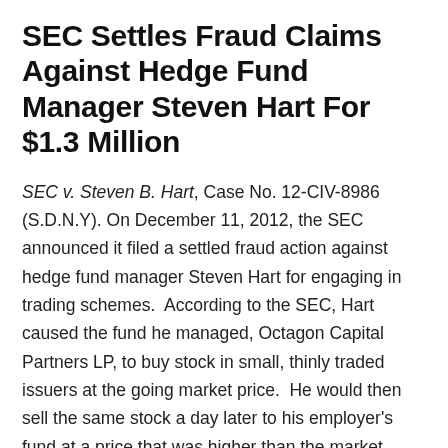SEC Settles Fraud Claims Against Hedge Fund Manager Steven Hart For $1.3 Million
SEC v. Steven B. Hart, Case No. 12-CIV-8986 (S.D.N.Y). On December 11, 2012, the SEC announced it filed a settled fraud action against hedge fund manager Steven Hart for engaging in trading schemes.  According to the SEC, Hart caused the fund he managed, Octagon Capital Partners LP, to buy stock in small, thinly traded issuers at the going market price.  He would then sell the same stock a day later to his employer's fund at a price that was higher than the market price.  Then, Hart would direct the employer's fund to sell the stock on the open market at a loss.  The SEC also alleges Hart engaged in insider trading.  Continue reading